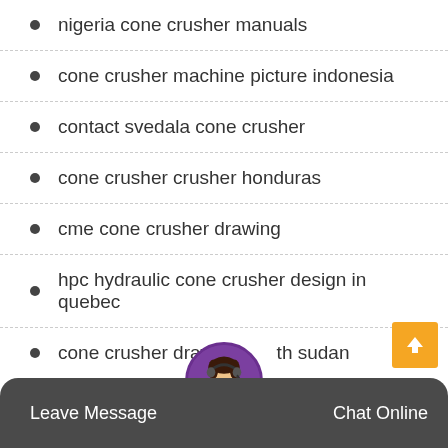nigeria cone crusher manuals
cone crusher machine picture indonesia
contact svedala cone crusher
cone crusher crusher honduras
cme cone crusher drawing
hpc hydraulic cone crusher design in quebec
cone crusher drawing with sudan
montreal suppliers calcite cone crusherwks90b